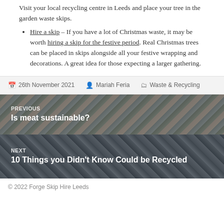Visit your local recycling centre in Leeds and place your tree in the garden waste skips.
Hire a skip – If you have a lot of Christmas waste, it may be worth hiring a skip for the festive period. Real Christmas trees can be placed in skips alongside all your festive wrapping and decorations. A great idea for those expecting a larger gathering.
26th November 2021   Mariah Feria   Waste & Recycling
[Figure (photo): Navigation block: PREVIOUS - Is meat sustainable? with image of meat packaging and blue gloves]
[Figure (photo): Navigation block: NEXT - 10 Things you Didn't Know Could be Recycled with image of recycling materials]
© 2022 Forge Skip Hire Leeds